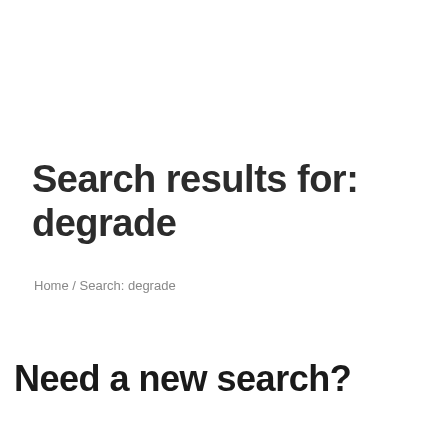Search results for: degrade
Home / Search: degrade
Need a new search?